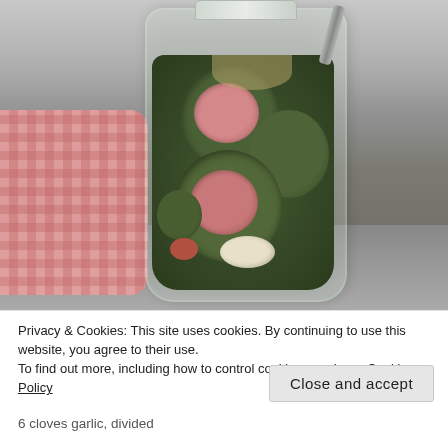[Figure (photo): A glass jar filled with large green/dark pickled peppers stuffed with pink/red filling (meat or cheese), along with whole garlic cloves visible at the bottom, sitting on a gray stone countertop. A red and white checkered cloth is folded in the background to the left.]
Privacy & Cookies: This site uses cookies. By continuing to use this website, you agree to their use.
To find out more, including how to control cookies, see here: Cookie Policy
Close and accept
6 cloves garlic, divided